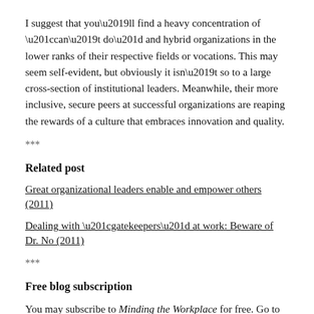I suggest that you’ll find a heavy concentration of “can’t do” and hybrid organizations in the lower ranks of their respective fields or vocations. This may seem self-evident, but obviously it isn’t so to a large cross-section of institutional leaders. Meanwhile, their more inclusive, secure peers at successful organizations are reaping the rewards of a culture that embraces innovation and quality.
***
Related post
Great organizational leaders enable and empower others (2011)
Dealing with “gatekeepers” at work: Beware of Dr. No (2011)
***
Free blog subscription
You may subscribe to Minding the Workplace for free. Go to “Follow this blog” at the top right of the home page, and enter your e-mail address.